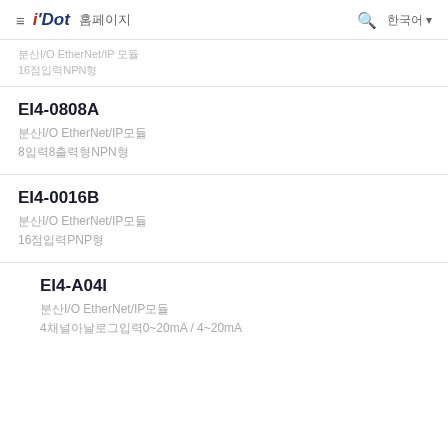≡ i'Dot 홈페이지
분산I/O EtherNet/IP 모듈
16점입력NPN형
EI4-0808A
분산I/O EtherNet/IP모듈
8입력8출력형NPN형
EI4-0016B
분산I/O EtherNet/IP모듈
16점입력PNP형
EI4-A04I
분산I/O EtherNet/IP모듈
4채널아날로그입력0~20mA / 4~20mA